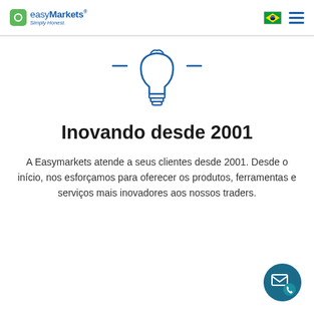easyMarkets Simply Honest.
[Figure (illustration): Light bulb icon outline in blue, centered on white background with horizontal dash lines on each side]
Inovando desde 2001
A Easymarkets atende a seus clientes desde 2001. Desde o início, nos esforçamos para oferecer os produtos, ferramentas e serviços mais inovadores aos nossos traders.
[Figure (illustration): Dark teal circular contact button with envelope and phone icons, bottom right corner]